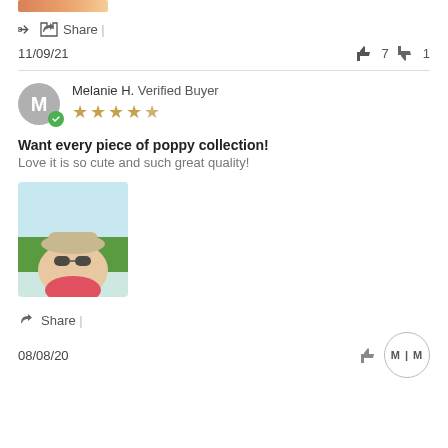[Figure (photo): Partial top image cropped at top edge]
Share |
11/09/21   👍 7   👎 1
Melanie H. Verified Buyer
★★★★★
Want every piece of poppy collection!
Love it is so cute and such great quality!
[Figure (photo): User-submitted photo of a woman wearing a hat and sunglasses outdoors]
Share |
08/08/20
[Figure (logo): M|M circular logo]